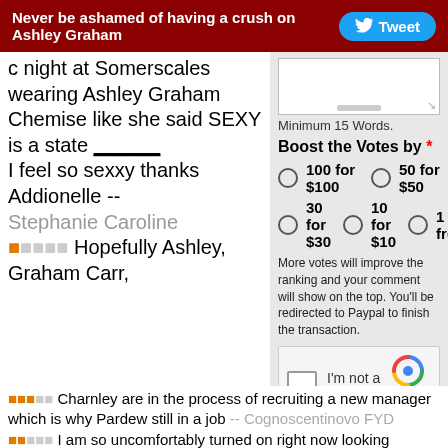Never be ashamed of having a crush on Ashley Graham  Tweet
c night at Somerscales wearing Ashley Graham Chemise like she said SEXY is a state ______ I feel so sexxy thanks Addionelle -- Stephanie Caroline
Minimum 15 Words.
Boost the Votes by *
100 for $100
50 for $50
30 for $30
10 for $10
1 free
More votes will improve the ranking and your comment will show on the top. You'll be redirected to Paypal to finish the transaction.
[Figure (other): reCAPTCHA widget with checkbox labeled I'm not a robot and reCAPTCHA logo with Privacy - Terms text]
Save
★☆☆☆☆ Hopefully Ashley, Graham Carr, Charnley are in the process of recruiting a new manager which is why Pardew still in a job -- Cognoscentinovo FYD
★★★☆☆ I am so uncomfortably turned on right now looking through